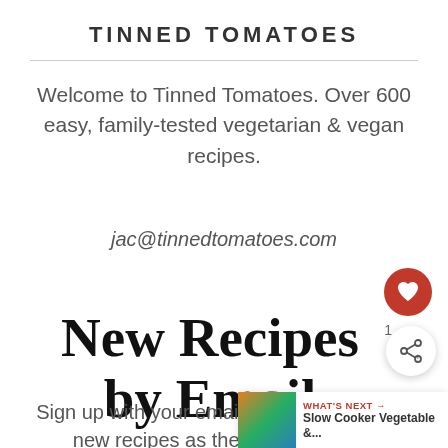TINNED TOMATOES
Welcome to Tinned Tomatoes. Over 600 easy, family-tested vegetarian & vegan recipes.
jac@tinnedtomatoes.com
New Recipes by Email
Sign up with your email address to receive new recipes as they are published